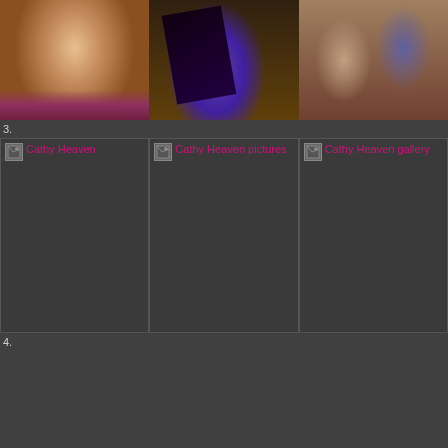[Figure (photo): Three photographs in a row: left shows a brunette woman in a portrait shot with purple necklace, center shows a close-up of black high heel shoes with purple stockings, right shows two people sitting together with purple legwear visible.]
3.
[Figure (photo): Three placeholder image boxes with broken image indicators and pink alt text labels reading 'Cathy Heaven', 'Cathy Heaven pictures', and 'Cathy Heaven gallery'.]
4.